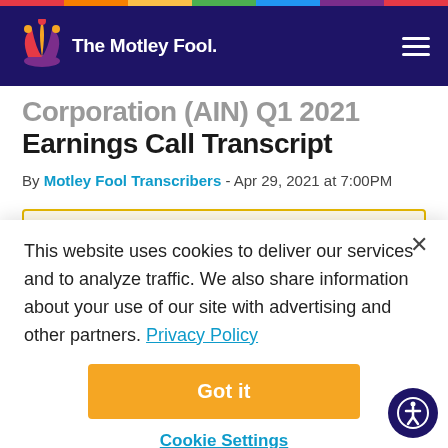The Motley Fool
Corporation (AIN) Q1 2021 Earnings Call Transcript
By Motley Fool Transcribers - Apr 29, 2021 at 7:00PM
You're reading a free article with opinions that may differ from The Motley Fool's Premium Investing Services.
This website uses cookies to deliver our services and to analyze traffic. We also share information about your use of our site with advertising and other partners. Privacy Policy
Got it
Cookie Settings